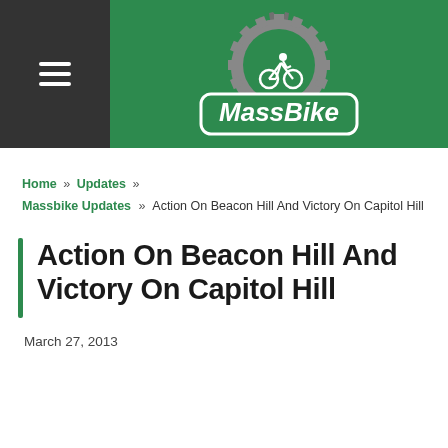[Figure (logo): MassBike logo: green background with gray gear/cog icon containing a white cyclist silhouette, and a green sign-shaped badge with white italic text 'MassBike']
Home » Updates » Massbike Updates » Action On Beacon Hill And Victory On Capitol Hill
Action On Beacon Hill And Victory On Capitol Hill
March 27, 2013